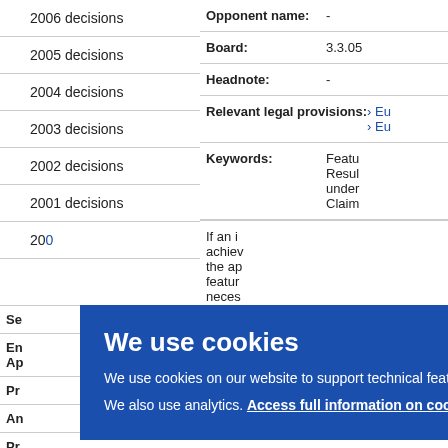2006 decisions
2005 decisions
2004 decisions
2003 decisions
2002 decisions
2001 decisions
200[partially visible]
| Field | Value |
| --- | --- |
| Opponent name: | - |
| Board: | 3.3.05 |
| Headnote: | - |
| Relevant legal provisions: | > Eu
> Eu |
| Keywords: | Featu
Resul
under
Claim |
If an i
achiev
the ap
featur
neces
We use cookies
We use cookies on our website to support technical features that enhance your user experience.
We also use analytics. Access full information on cookies that we use and how to manage them
Se
En
Ap
Pr
An
Pr